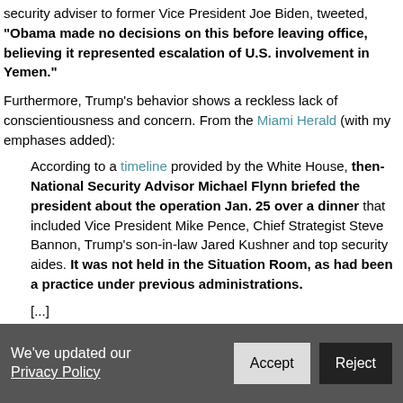security adviser to former Vice President Joe Biden, tweeted, "Obama made no decisions on this before leaving office, believing it represented escalation of U.S. involvement in Yemen."
Furthermore, Trump's behavior shows a reckless lack of conscientiousness and concern. From the Miami Herald (with my emphases added):
According to a timeline provided by the White House, then-National Security Advisor Michael Flynn briefed the president about the operation Jan. 25 over a dinner that included Vice President Mike Pence, Chief Strategist Steve Bannon, Trump's son-in-law Jared Kushner and top security aides. It was not held in the Situation Room, as had been a practice under previous administrations.
[...]
At the time of the firefight, Trump was not in the Situation
We've updated our Privacy Policy   Accept   Reject